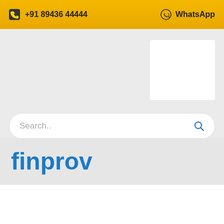+91 89436 44444   WhatsApp
Search..
finprov